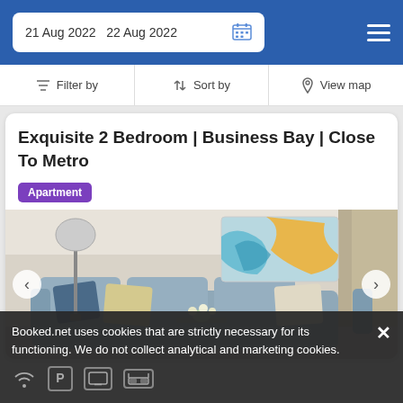21 Aug 2022  22 Aug 2022
Filter by  |  Sort by  |  View map
Exquisite 2 Bedroom | Business Bay | Close To Metro
Apartment
[Figure (photo): Interior photo of a living room with a grey sectional sofa, decorative pillows, floor lamp, and colourful abstract wall art painting.]
Booked.net uses cookies that are strictly necessary for its functioning. We do not collect analytical and marketing cookies.